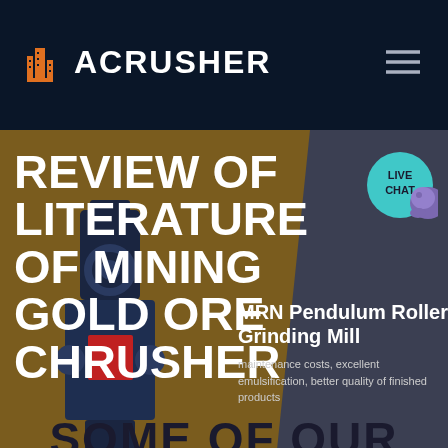ACRUSHER
REVIEW OF LITERATURE OF MINING GOLD ORE CHRUSHER
MRN Pendulum Roller Grinding Mill
maintenance costs, excellent emulsification, better quality of finished products
HOME / PRODUCTS
SOME OF OUR